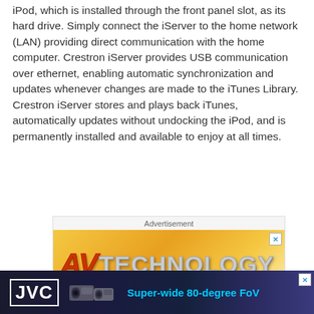iPod, which is installed through the front panel slot, as its hard drive. Simply connect the iServer to the home network (LAN) providing direct communication with the home computer. Crestron iServer provides USB communication over ethernet, enabling automatic synchronization and updates whenever changes are made to the iTunes Library. Crestron iServer stores and plays back iTunes, automatically updates without undocking the iPod, and is permanently installed and available to enjoy at all times.
[Figure (other): Advertisement banner for AV Technology magazine with orange/gold gradient background showing AV Technology logo in red and gray text]
[Figure (other): JVC advertisement banner with dark blue background showing JVC logo, camera equipment images, and text 'Super-wide 80-degree FoV']